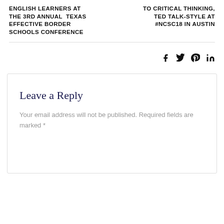ENGLISH LEARNERS AT THE 3RD ANNUAL TEXAS EFFECTIVE BORDER SCHOOLS CONFERENCE
TO CRITICAL THINKING, TED TALK-STYLE AT #NCSC18 IN AUSTIN
[Figure (other): Social media icons: Facebook, Twitter, Pinterest, LinkedIn]
Leave a Reply
Your email address will not be published. Required fields are marked *